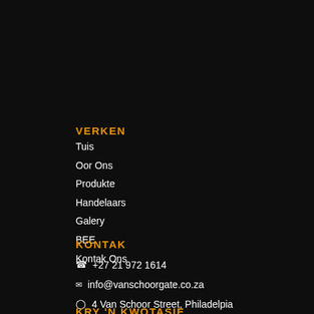VERKEN
Tuis
Oor Ons
Produkte
Handelaars
Galery
BEE
Kontak Ons
KONTAK
+27 21 972 1614
info@vanschoorgate.co.za
4 Van Schoor Street, Philadelpia
KRY 'N KWOTASIE